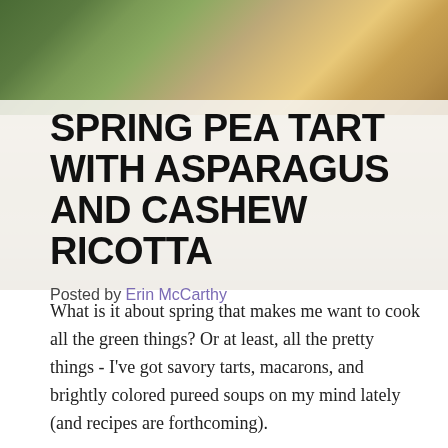[Figure (photo): Food photo showing a spring pea tart with asparagus and cashew ricotta, with golden pastry crust and green filling, and carrots in a bowl in the upper right corner]
SPRING PEA TART WITH ASPARAGUS AND CASHEW RICOTTA
Posted by Erin McCarthy
What is it about spring that makes me want to cook all the green things? Or at least, all the pretty things - I've got savory tarts, macarons, and brightly colored pureed soups on my mind lately (and recipes are forthcoming).
This savory spring pea tart with asparagus tart is